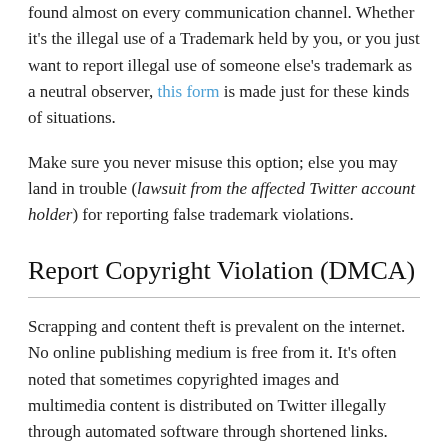found almost on every communication channel. Whether it's the illegal use of a Trademark held by you, or you just want to report illegal use of someone else's trademark as a neutral observer, this form is made just for these kinds of situations.
Make sure you never misuse this option; else you may land in trouble (lawsuit from the affected Twitter account holder) for reporting false trademark violations.
Report Copyright Violation (DMCA)
Scrapping and content theft is prevalent on the internet. No online publishing medium is free from it. It's often noted that sometimes copyrighted images and multimedia content is distributed on Twitter illegally through automated software through shortened links.